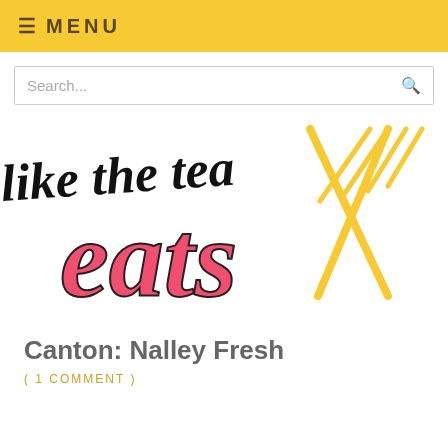≡ MENU
Search...
[Figure (logo): Like the tea eats logo with script text and golden knife and fork crossed]
Canton: Nalley Fresh
( 1 COMMENT )